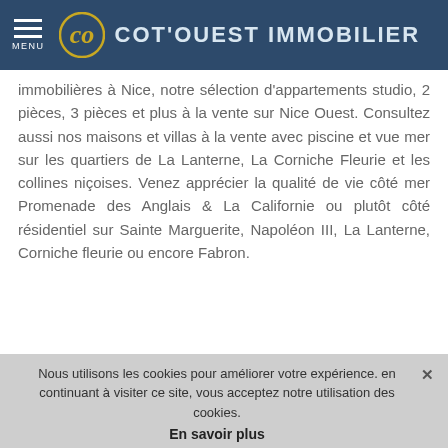MENU  COT'OUEST IMMOBILIER
immobilières à Nice, notre sélection d'appartements studio, 2 pièces, 3 pièces et plus à la vente sur Nice Ouest. Consultez aussi nos maisons et villas à la vente avec piscine et vue mer sur les quartiers de La Lanterne, La Corniche Fleurie et les collines niçoises. Venez apprécier la qualité de vie côté mer Promenade des Anglais & La Californie ou plutôt côté résidentiel sur Sainte Marguerite, Napoléon III, La Lanterne, Corniche fleurie ou encore Fabron.
Nous utilisons les cookies pour améliorer votre expérience. en continuant à visiter ce site, vous acceptez notre utilisation des cookies.
En savoir plus